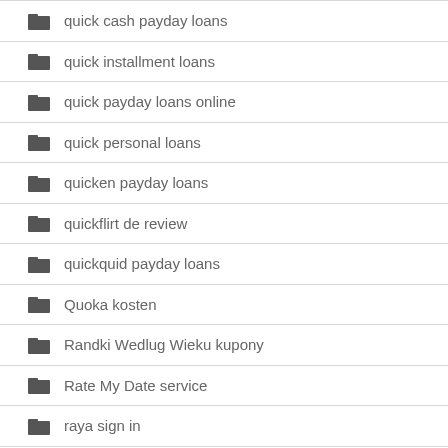quick cash payday loans
quick installment loans
quick payday loans online
quick personal loans
quicken payday loans
quickflirt de review
quickquid payday loans
Quoka kosten
Randki Wedlug Wieku kupony
Rate My Date service
raya sign in